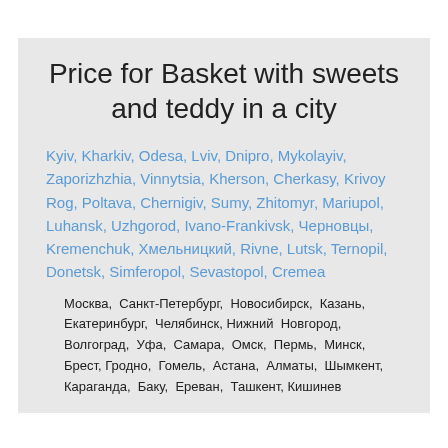Price for Basket with sweets and teddy in a city
Kyiv, Kharkiv, Odesa, Lviv, Dnipro, Mykolayiv, Zaporizhzhia, Vinnytsia, Kherson, Cherkasy, Krivoy Rog, Poltava, Chernigiv, Sumy, Zhitomyr, Mariupol, Luhansk, Uzhgorod, Ivano-Frankivsk, Черновцы, Kremenchuk, Хмельницкий, Rivne, Lutsk, Ternopil, Donetsk, Simferopol, Sevastopol, Cremea
Москва, Санкт-Петербург, Новосибирск, Казань, Екатеринбург, Челябинск, Нижний Новгород, Волгоград, Уфа, Самара, Омск, Пермь, Минск, Брест, Гродно, Гомель, Астана, Алматы, Шымкент, Караганда, Баку, Ереван, Ташкент, Кишинев
Recommended to watch